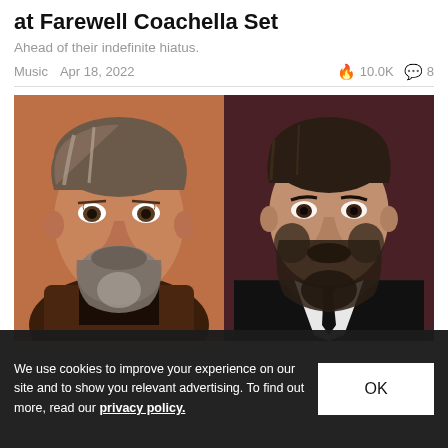at Farewell Coachella Set
Ahead of their indefinite hiatus.
Music  Apr 18, 2022  🔥 10.0K  💬 8
[Figure (photo): Two side-by-side celebrity headshots: left person with gray-streaked hair, beard, brown leather jacket on orange background; right person with dark hair and beard, black suit and white shirt with black tie on dark red/maroon background]
We use cookies to improve your experience on our site and to show you relevant advertising. To find out more, read our privacy policy.